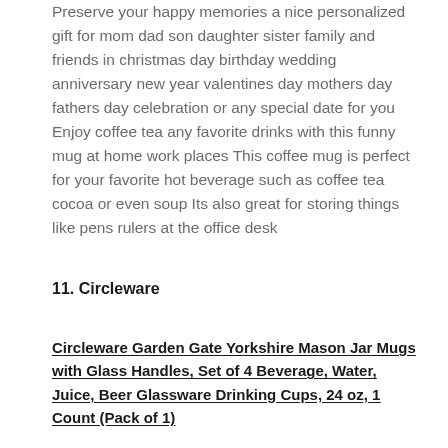Preserve your happy memories a nice personalized gift for mom dad son daughter sister family and friends in christmas day birthday wedding anniversary new year valentines day mothers day fathers day celebration or any special date for you Enjoy coffee tea any favorite drinks with this funny mug at home work places This coffee mug is perfect for your favorite hot beverage such as coffee tea cocoa or even soup Its also great for storing things like pens rulers at the office desk
11. Circleware
Circleware Garden Gate Yorkshire Mason Jar Mugs with Glass Handles, Set of 4 Beverage, Water, Juice, Beer Glassware Drinking Cups, 24 oz, 1 Count (Pack of 1)